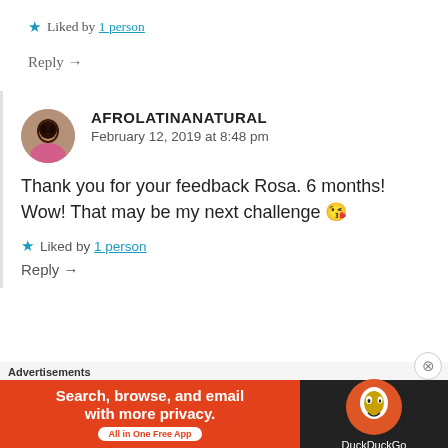★ Liked by 1 person
Reply →
AFROLATINANATURAL
February 12, 2019 at 8:48 pm
Thank you for your feedback Rosa. 6 months! Wow! That may be my next challenge 😘
★ Liked by 1 person
Reply →
Advertisements
[Figure (screenshot): DuckDuckGo advertisement banner: 'Search, browse, and email with more privacy. All in One Free App' with DuckDuckGo duck logo on dark right panel]